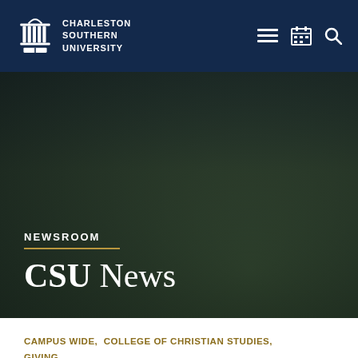CHARLESTON SOUTHERN UNIVERSITY
NEWSROOM
CSU News
CAMPUS WIDE, COLLEGE OF CHRISTIAN STUDIES, GIVING